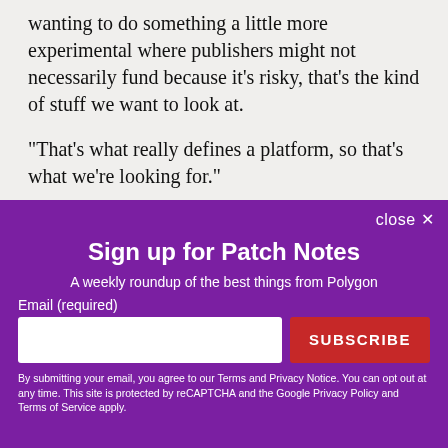wanting to do something a little more experimental where publishers might not necessarily fund because it's risky, that's the kind of stuff we want to look at.
"That's what really defines a platform, so that's what we're looking for."
[Figure (other): Newsletter signup popup overlay with purple background. Contains title 'Sign up for Patch Notes', subtitle 'A weekly roundup of the best things from Polygon', an email input field, a SUBSCRIBE button, and a disclaimer about terms and privacy.]